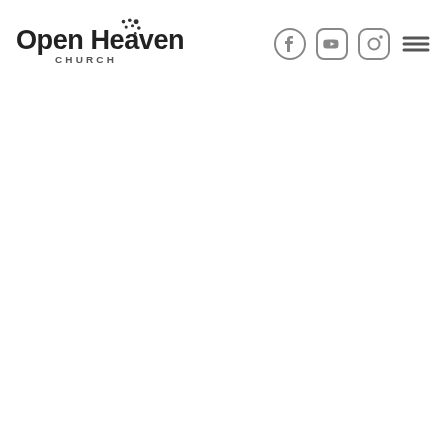Open Heaven Church — navigation header with Facebook, YouTube, Instagram icons and hamburger menu